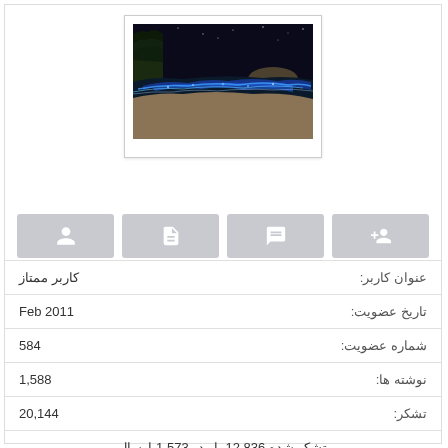[Figure (photo): Night beach scene with bioluminescent blue glowing waves, dark sky, and silhouettes of trees]
| عنوان کاربر: | کاربر ممتاز |
| تاریخ عضویت: | Feb 2011 |
| شماره عضویت: | 584 |
| نوشته ها: | 1,588 |
| تشکر: | 20,144 |
تشکر شده 12,836 بار در 1,573 ارسال